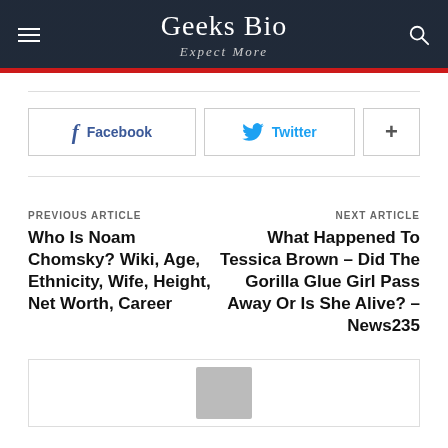Geeks Bio
Expect More
Facebook  Twitter  +
PREVIOUS ARTICLE
Who Is Noam Chomsky? Wiki, Age, Ethnicity, Wife, Height, Net Worth, Career
NEXT ARTICLE
What Happened To Tessica Brown – Did The Gorilla Glue Girl Pass Away Or Is She Alive? – News235
[Figure (other): User avatar placeholder image at the bottom of the page]